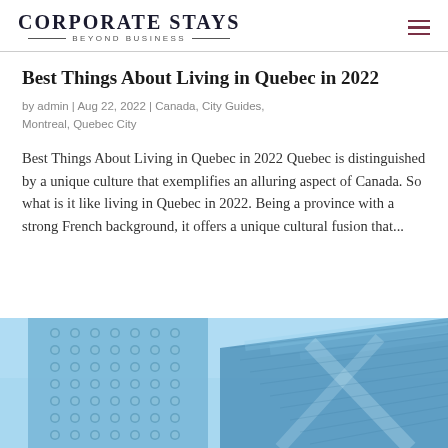Corporate Stays — Beyond Business
Best Things About Living in Quebec in 2022
by admin | Aug 22, 2022 | Canada, City Guides, Montreal, Quebec City
Best Things About Living in Quebec in 2022 Quebec is distinguished by a unique culture that exemplifies an alluring aspect of Canada. So what is it like living in Quebec in 2022. Being a province with a strong French background, it offers a unique cultural fusion that...
[Figure (photo): Upward-angle view of modern skyscrapers with blue glass facades against a light blue sky, one building with circular window pattern on the left and glass curtain wall building on the right.]